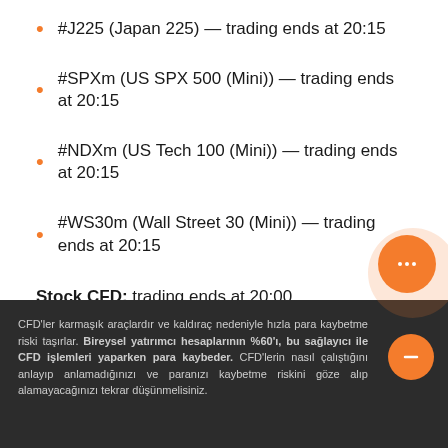#J225 (Japan 225) — trading ends at 20:15
#SPXm (US SPX 500 (Mini)) — trading ends at 20:15
#NDXm (US Tech 100 (Mini)) — trading ends at 20:15
#WS30m (Wall Street 30 (Mini)) — trading ends at 20:15
Stock CFD: trading ends at 20:00.
All other financial instruments will be traded as usual.
Please consider this information when planning your
CFD'ler karmaşık araçlardır ve kaldıraç nedeniyle hızla para kaybetme riski taşırlar. Bireysel yatırımcı hesaplarının %60'ı, bu sağlayıcı ile CFD işlemleri yaparken para kaybeder. CFD'lerin nasıl çalıştığını anlayıp anlamadığınızı ve paranızı kaybetme riskini göze alıp alamayacağınızı tekrar düşünmelisiniz.